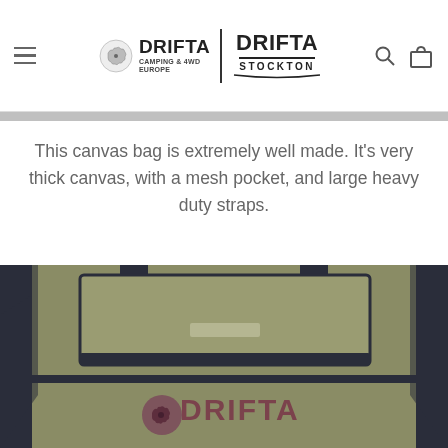Drifta Camping & 4WD Europe | Drifta Stockton — navigation header with menu, logos, search and cart icons
This canvas bag is extremely well made. It’s very thick canvas, with a mesh pocket, and large heavy duty straps.
[Figure (photo): Close-up photo of an olive/khaki green canvas bag with dark navy straps and trim, featuring a mesh front pocket and a Drifta logo (Australia map icon with horse and rider) in burgundy/maroon on the front.]